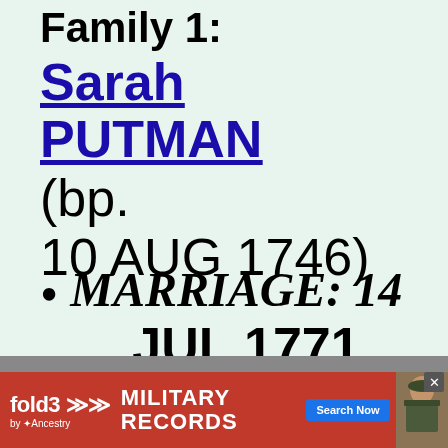Family 1:
Sarah PUTMAN (bp. 10 AUG 1746)
MARRIAGE: 14 JUL 1771, Boston, MA
[Figure (infographic): fold3 by Ancestry advertisement banner for Military Records with Search Now button]